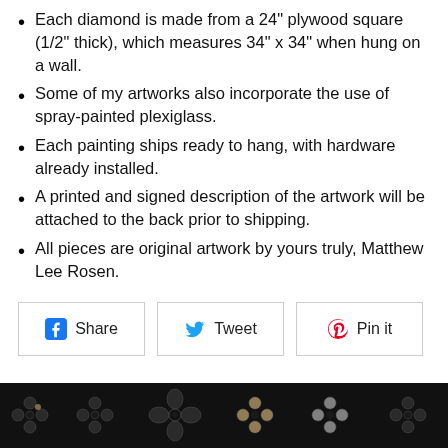Each diamond is made from a 24" plywood square (1/2" thick), which measures 34" x 34" when hung on a wall.
Some of my artworks also incorporate the use of spray-painted plexiglass.
Each painting ships ready to hang, with hardware already installed.
A printed and signed description of the artwork will be attached to the back prior to shipping.
All pieces are original artwork by yours truly, Matthew Lee Rosen.
[Figure (screenshot): Social sharing buttons: Facebook Share, Twitter Tweet, Pinterest Pin it]
[Figure (photo): Photo of artwork featuring Louis Vuitton monogram pattern on dark background]